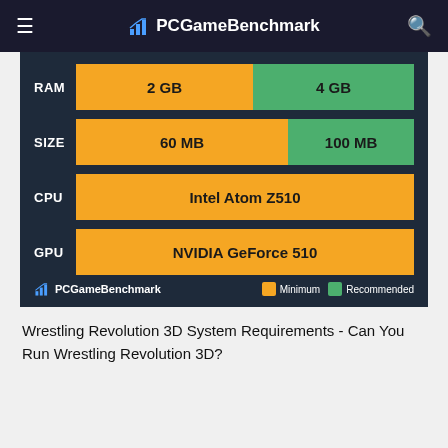PCGameBenchmark
[Figure (bar-chart): Wrestling Revolution 3D System Requirements]
Wrestling Revolution 3D System Requirements - Can You Run Wrestling Revolution 3D?